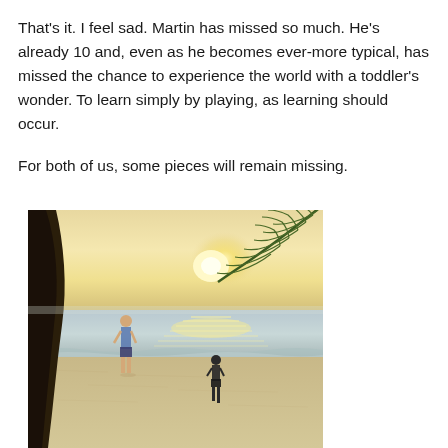That's it. I feel sad. Martin has missed so much. He's already 10 and, even as he becomes ever-more typical, has missed the chance to experience the world with a toddler's wonder. To learn simply by playing, as learning should occur.

For both of us, some pieces will remain missing.
[Figure (photo): Beach scene at sunset/golden hour. A dark tree trunk is prominent on the left edge. A palm frond hangs from the upper right area. Two children stand on the sandy beach near the shoreline, with calm ocean waves and a bright glowing horizon in the background.]